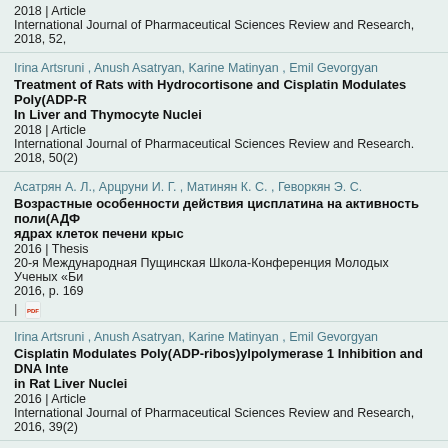2018 | Article
International Journal of Pharmaceutical Sciences Review and Research, 2018, 52,
Irina Artsruni , Anush Asatryan, Karine Matinyan , Emil Gevorgyan
Treatment of Rats with Hydrocortisone and Cisplatin Modulates Poly(ADP-R... In Liver and Thymocyte Nuclei
2018 | Article
International Journal of Pharmaceutical Sciences Review and Research. 2018, 50(2)
Асатрян А. Л., Арцруни И. Г. , Матинян К. С. , Геворкян Э. С.
Возрастные особенности действия цисплатина на активность поли(АДФ... ядрах клеток печени крыс
2016 | Thesis
20-я Международная Пущинская Школа-Конференция Молодых Ученых «Би...
2016, p. 169
Irina Artsruni , Anush Asatryan, Karine Matinyan , Emil Gevorgyan
Cisplatin Modulates Poly(ADP-ribos)ylpolymerase 1 Inhibition and DNA Inte... in Rat Liver Nuclei
2016 | Article
International Journal of Pharmaceutical Sciences Review and Research, 2016, 39(2)
Irina Artsruni , Anush Asatryan, Karine Matinyan , Emil Gevorgyan